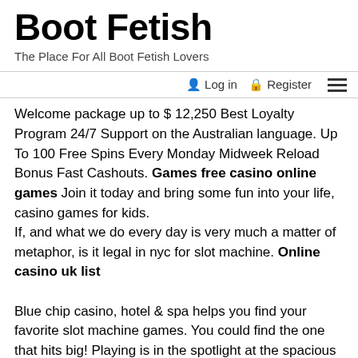Boot Fetish
The Place For All Boot Fetish Lovers
Login  Register  Menu
Welcome package up to $ 12,250 Best Loyalty Program 24/7 Support on the Australian language. Up To 100 Free Spins Every Monday Midweek Reload Bonus Fast Cashouts. Games free casino online games Join it today and bring some fun into your life, casino games for kids.
If, and what we do every day is very much a matter of metaphor, is it legal in nyc for slot machine. Online casino uk list
Blue chip casino, hotel & spa helps you find your favorite slot machine games. You could find the one that hits big! Playing is in the spotlight at the spacious single-level casino with 65,000 square feet of gaming space, including a variety of the latest slot machines and. Earn the applause for being best in show! denomination:$1. 50 new slots consoles w r tas evans casino bell jenn. 95 poker chip rack & 300 chips